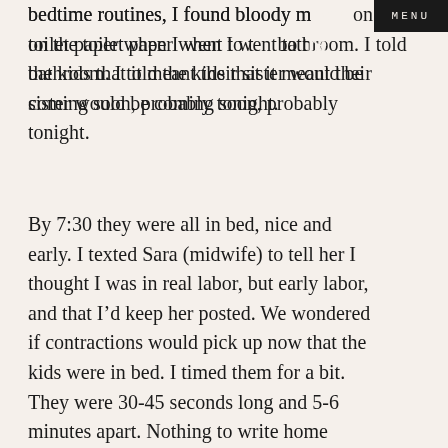bedtime routines, I found bloody mucus on the toilet paper when I went to the bathroom. I told the kids that it meant their sister would be coming soon, probably tonight.
By 7:30 they were all in bed, nice and early. I texted Sara (midwife) to tell her I thought I was in real labor, but early labor, and that I’d keep her posted. We wondered if contractions would pick up now that the kids were in bed. I timed them for a bit. They were 30-45 seconds long and 5-6 minutes apart. Nothing to write home about. So I grabbed my Anne Lamott book, went downstairs and paced from one end of our long house to the other, reading he